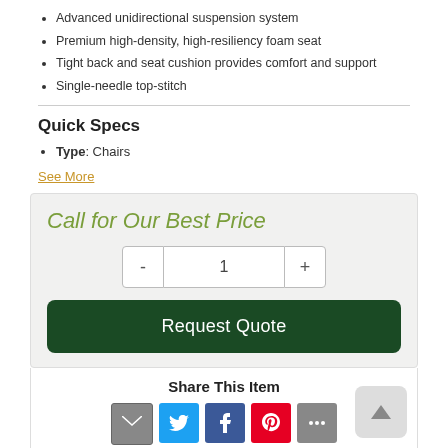Advanced unidirectional suspension system
Premium high-density, high-resiliency foam seat
Tight back and seat cushion provides comfort and support
Single-needle top-stitch
Quick Specs
Type: Chairs
See More
Call for Our Best Price
Request Quote
Share This Item